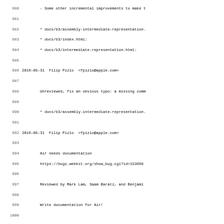Code/changelog log lines 980-1011 showing git log entries for WebKit repository changes by Filip Pizlo and Jon Davis in 2016.